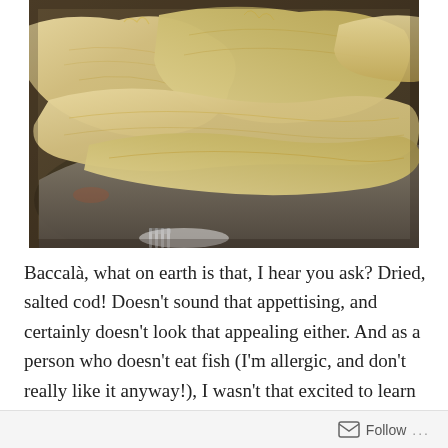[Figure (photo): Close-up photograph of dried, salted cod (baccalà) — flat, pale yellowish-white pieces of dried fish stacked on top of each other, showing rough textured surfaces with grey-brown undersides visible.]
Baccalà, what on earth is that, I hear you ask? Dried, salted cod! Doesn't sound that appettising, and certainly doesn't look that appealing either. And as a person who doesn't eat fish (I'm allergic, and don't really like it anyway!), I wasn't that excited to learn that 'Lo Chef', AKA Angela, told me this is a popular dish
Follow ...